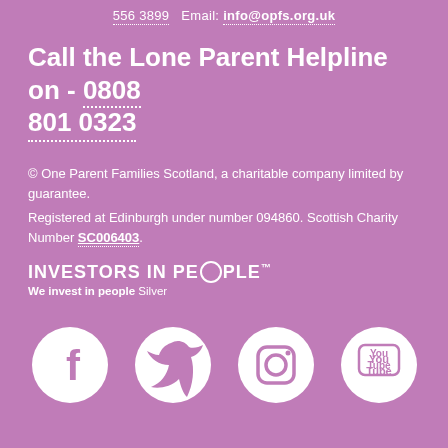556 3899   Email: info@opfs.org.uk
Call the Lone Parent Helpline on - 0808 801 0323
© One Parent Families Scotland, a charitable company limited by guarantee. Registered at Edinburgh under number 094860. Scottish Charity Number SC006403.
[Figure (logo): Investors in People logo with text 'INVESTORS IN PEOPLE' and 'We invest in people Silver']
[Figure (infographic): Four white circular social media icons on purple background: Facebook, Twitter, Instagram, YouTube]